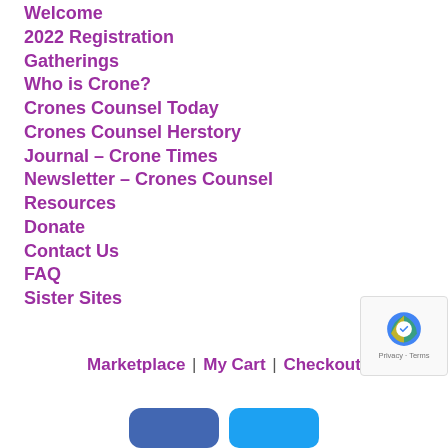Welcome
2022 Registration
Gatherings
Who is Crone?
Crones Counsel Today
Crones Counsel Herstory
Journal – Crone Times
Newsletter – Crones Counsel
Resources
Donate
Contact Us
FAQ
Sister Sites
Marketplace | My Cart | Checkout
[Figure (other): Social media icons: Facebook (blue rounded rectangle) and Twitter (light blue rounded rectangle) partially visible at bottom]